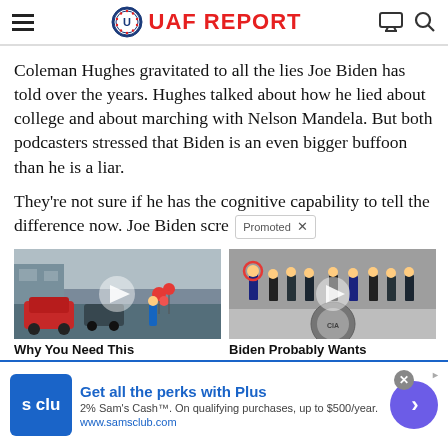UAF REPORT
Coleman Hughes gravitated to all the lies Joe Biden has told over the years. Hughes talked about how he lied about college and about marching with Nelson Mandela. But both podcasters stressed that Biden is an even bigger buffoon than he is a liar.
They're not sure if he has the cognitive capability to tell the difference now. Joe Biden scre
[Figure (photo): Street scene thumbnail with play button overlay]
Why You Need This
[Figure (photo): CIA building with group of men in suits, one circled in red, play button overlay]
Biden Probably Wants